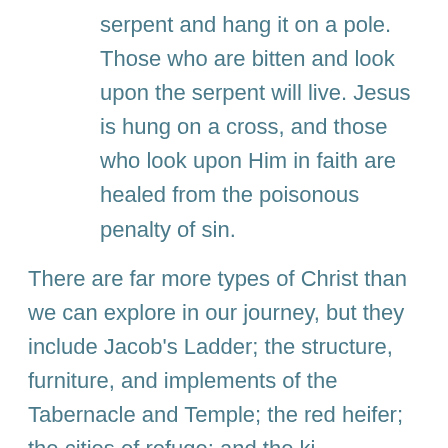serpent and hang it on a pole. Those who are bitten and look upon the serpent will live. Jesus is hung on a cross, and those who look upon Him in faith are healed from the poisonous penalty of sin.
There are far more types of Christ than we can explore in our journey, but they include Jacob's Ladder; the structure, furniture, and implements of the Tabernacle and Temple; the red heifer; the cities of refuge; and the ki...